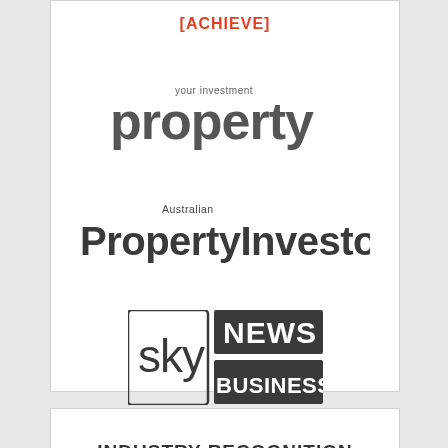[ACHIEVE]
[Figure (logo): your investment property logo — bold 'property' text with small 'your investment' above in grey]
[Figure (logo): Australian PropertyInvestor logo — bold dark grey text with small 'Australian' above]
[Figure (logo): Sky News Business logo — 'sky' in rounded box, 'NEWS' and 'BUSINESS' in dark grey filled rectangles]
INDUSTRY RECOGNITION